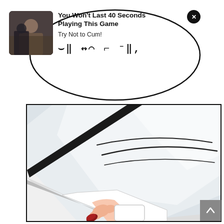[Figure (infographic): Advertisement overlay with thumbnail photo of a woman, bold text headline 'You Won't Last 40 Seconds Playing This Game', subtext 'Try Not to Cum!', and stylized media player symbol characters. Oval speech-bubble shaped container with close button.]
[Figure (illustration): Manga-style comic panel showing a close-up of a hand with red fingernails pulling back white fabric/cloth, with motion lines suggesting movement. Light gray and white tones.]